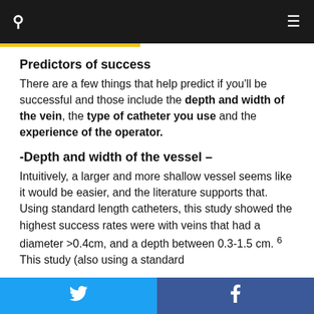Predictors of success
There are a few things that help predict if you'll be successful and those include the depth and width of the vein, the type of catheter you use and the experience of the operator.
-Depth and width of the vessel –
Intuitively, a larger and more shallow vessel seems like it would be easier, and the literature supports that. Using standard length catheters, this study showed the highest success rates were with veins that had a diameter >0.4cm, and a depth between 0.3-1.5 cm. 6 This study (also using a standard
Twitter  Facebook